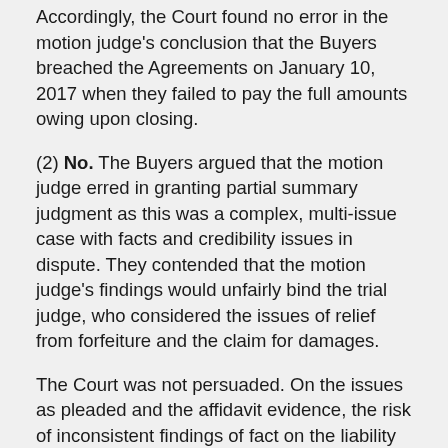Accordingly, the Court found no error in the motion judge's conclusion that the Buyers breached the Agreements on January 10, 2017 when they failed to pay the full amounts owing upon closing.
(2) No. The Buyers argued that the motion judge erred in granting partial summary judgment as this was a complex, multi-issue case with facts and credibility issues in dispute. They contended that the motion judge's findings would unfairly bind the trial judge, who considered the issues of relief from forfeiture and the claim for damages.
The Court was not persuaded. On the issues as pleaded and the affidavit evidence, the risk of inconsistent findings of fact on the liability issues and the issues of forfeiture and damages was seen as minimal. The risk of inconsistent findings was only one of several matters the motion judge was required to consider. When deciding whether to grant summary judgment, in whole or in part, a motion judge must determine whether, in the